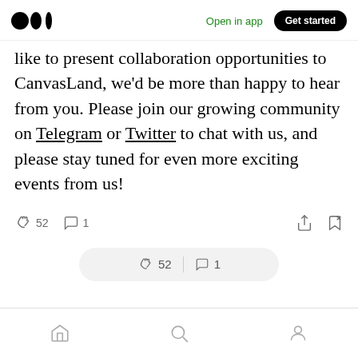Open in app | Get started
like to present collaboration opportunities to CanvasLand, we'd be more than happy to hear from you. Please join our growing community on Telegram or Twitter to chat with us, and please stay tuned for even more exciting events from us!
[Figure (screenshot): Interaction bar showing 52 claps and 1 comment on the left, share and bookmark icons on the right]
[Figure (screenshot): Floating pill showing 52 claps and 1 comment]
[Figure (screenshot): Bottom navigation bar with home, search, and profile icons]